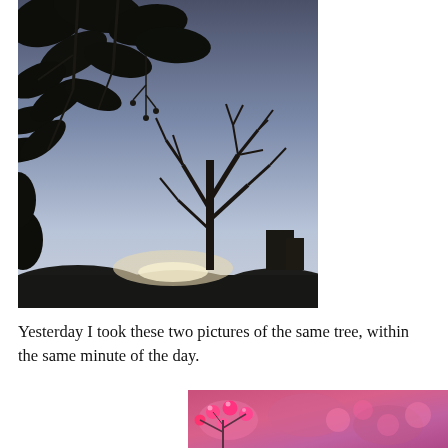[Figure (photo): A twilight/dusk photograph looking upward at silhouetted tree branches and leaves in the foreground against a blue-purple gradient sky, with a larger bare tree silhouette visible in the middle-right background and more tree foliage along the bottom edge.]
Yesterday I took these two pictures of the same tree, within the same minute of the day.
[Figure (photo): A close-up photograph showing bright pink/magenta berries or flower blossoms on branches with a blurred pinkish-purple background.]